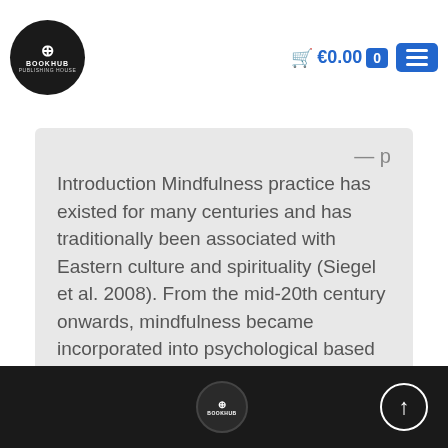BookHub logo, cart €0.00, menu
Introduction Mindfulness practice has existed for many centuries and has traditionally been associated with Eastern culture and spirituality (Siegel et al. 2008). From the mid-20th century onwards, mindfulness became incorporated into psychological based interventions as a means of reducing psychological distress and...
BookHub footer logo, scroll to top button